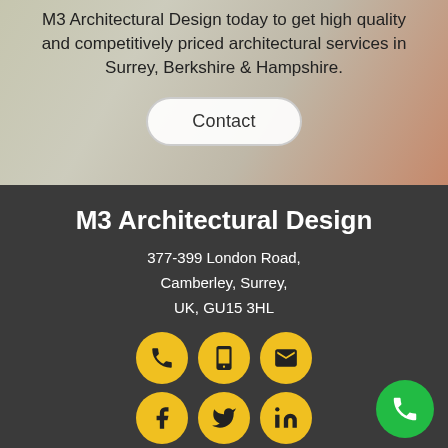M3 Architectural Design today to get high quality and competitively priced architectural services in Surrey, Berkshire & Hampshire.
Contact
M3 Architectural Design
377-399 London Road,
Camberley, Surrey,
UK, GU15 3HL
[Figure (infographic): Three yellow circular icon buttons: phone, mobile/tablet, and email (envelope)]
[Figure (infographic): Three yellow circular icon buttons: Facebook, Twitter, LinkedIn. A green circular phone button in the bottom right corner.]